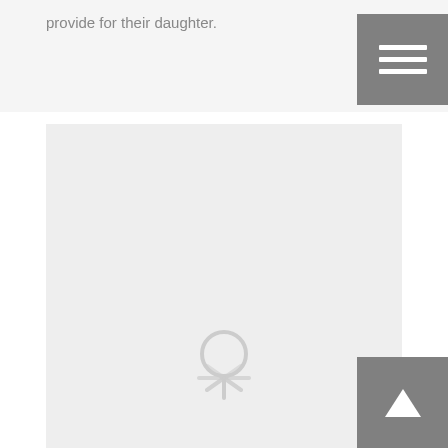provide for their daughter.
[Figure (other): Loading spinner placeholder image on light gray background]
Dhaniram Behaliya & Arjun Pahan
Jharkhand • By migrants_user • November 17, 2020 •
Leave a comment
The two were construction workers in Coimbatore.